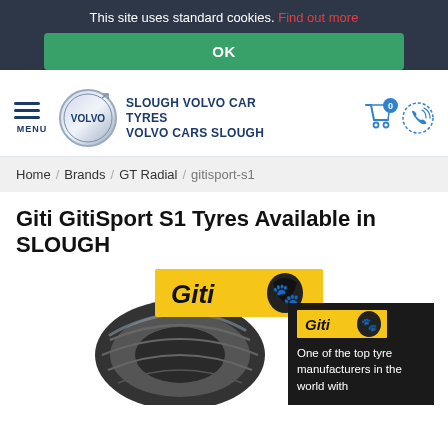This site uses standard cookies. Find out more
OK
[Figure (logo): Slough Volvo Car Tyres - Volvo Cars Slough logo with navigation menu and cart icon]
Home / Brands / GT Radial / gitisport-s1
Giti GitiSport S1 Tyres Available in SLOUGH
[Figure (photo): Giti GitiSport S1 tyre product image with Giti brand logo banner and side panel reading 'One of the top tyre manufacturers in the world with']